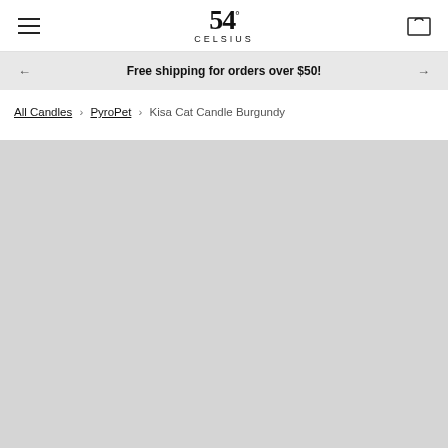54° CELSIUS — navigation header with hamburger menu and cart icon
Free shipping for orders over $50!
All Candles › PyroPet › Kisa Cat Candle Burgundy
[Figure (photo): Large light gray placeholder area for product image of Kisa Cat Candle Burgundy]